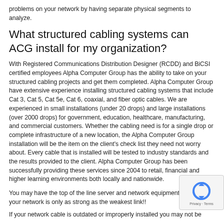problems on your network by having separate physical segments to analyze.
What structured cabling systems can ACG install for my organization?
With Registered Communications Distribution Designer (RCDD) and BiCSI certified employees Alpha Computer Group has the ability to take on your structured cabling projects and get them completed. Alpha Computer Group have extensive experience installing structured cabling systems that include Cat 3, Cat 5, Cat 5e, Cat 6, coaxial, and fiber optic cables. We are experienced in small installations (under 20 drops) and large installations (over 2000 drops) for government, education, healthcare, manufacturing, and commercial customers. Whether the cabling need is for a single drop or complete infrastructure of a new location, the Alpha Computer Group installation will be the item on the client's check list they need not worry about. Every cable that is installed will be tested to industry standards and the results provided to the client. Alpha Computer Group has been successfully providing these services since 2004 to retail, financial and higher learning environments both locally and nationwide.
You may have the top of the line server and network equipment in mind, your network is only as strong as the weakest link!!
If your network cable is outdated or improperly installed you may not be
[Figure (other): reCAPTCHA privacy widget overlay in bottom right corner]